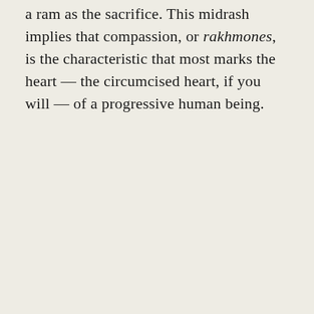a ram as the sacrifice. This midrash implies that compassion, or rakhmones, is the characteristic that most marks the heart — the circumcised heart, if you will — of a progressive human being.